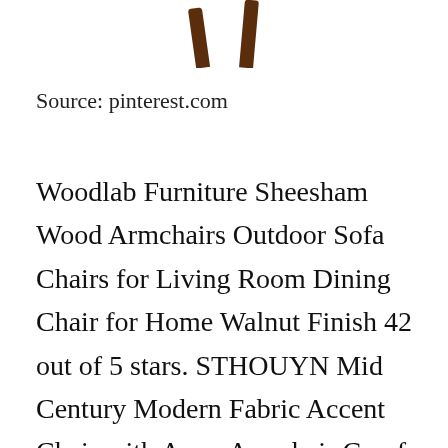[Figure (illustration): Partial view of wooden chair legs (Sheesham/walnut finish) visible at the top of the page, cropped]
Source: pinterest.com
Woodlab Furniture Sheesham Wood Armchairs Outdoor Sofa Chairs for Living Room Dining Chair for Home Walnut Finish 42 out of 5 stars. STHOUYN Mid Century Modern Fabric Accent Chair with Arms Armchair Comfy Reading Chair for Living Room Office Studio Chair Single Sofa Recliner Couch Be [CLOSE X] Grey 42. Amazons